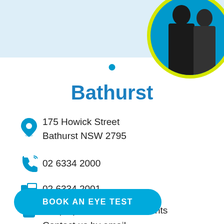[Figure (photo): Top light blue banner with photo of two women in a blue circle with yellow border on the right side]
Bathurst
175 Howick Street
Bathurst NSW 2795
02 6334 2000
02 6334 2001
Keep updated on local events
Contact us by email
BOOK AN EYE TEST